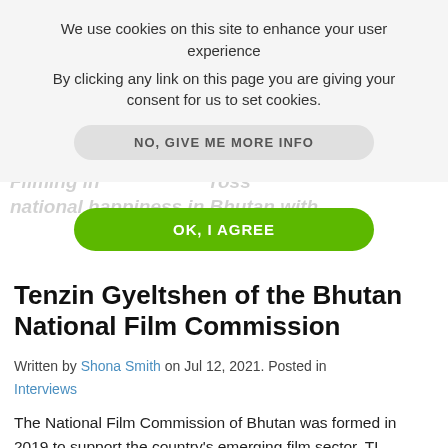We use cookies on this site to enhance your user experience
By clicking any link on this page you are giving your consent for us to set cookies.
NO, GIVE ME MORE INFO
OK, I AGREE
Filming in ... ross national happiness in Bhutan with
Tenzin Gyeltshen of the Bhutan National Film Commission
Written by Shona Smith on Jul 12, 2021. Posted in Interviews
The National Film Commission of Bhutan was formed in 2019 to support the country's emerging film sector. TL Connects to Tenzin Gyeltshen...